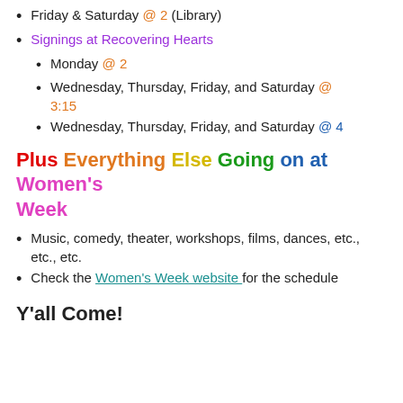Friday & Saturday @ 2 (Library)
Signings at Recovering Hearts
Monday @ 2
Wednesday, Thursday, Friday, and Saturday @ 3:15
Wednesday, Thursday, Friday, and Saturday @ 4
Plus Everything Else Going on at Women's Week
Music, comedy, theater, workshops, films, dances, etc., etc., etc.
Check the Women's Week website for the schedule
Y'all Come!